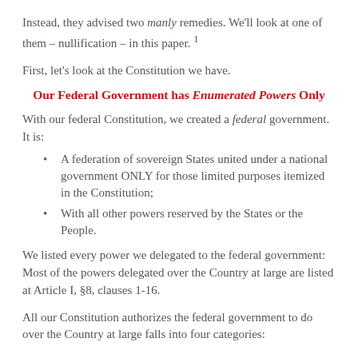Instead, they advised two manly remedies. We'll look at one of them – nullification – in this paper. 1
First, let's look at the Constitution we have.
Our Federal Government has Enumerated Powers Only
With our federal Constitution, we created a federal government. It is:
A federation of sovereign States united under a national government ONLY for those limited purposes itemized in the Constitution;
With all other powers reserved by the States or the People.
We listed every power we delegated to the federal government: Most of the powers delegated over the Country at large are listed at Article I, §8, clauses 1-16.
All our Constitution authorizes the federal government to do over the Country at large falls into four categories: